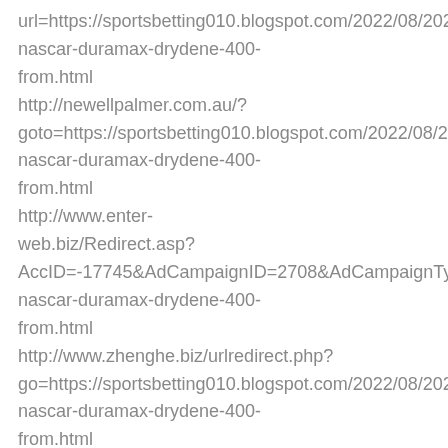url=https://sportsbetting010.blogspot.com/2022/08/2022-nascar-duramax-drydene-400-from.html http://newellpalmer.com.au/?goto=https://sportsbetting010.blogspot.com/2022/08/2022-nascar-duramax-drydene-400-from.html http://www.enter-web.biz/Redirect.asp?AccID=-17745&AdCampaignID=2708&AdCampaignType=2&A nascar-duramax-drydene-400-from.html http://www.zhenghe.biz/urlredirect.php?go=https://sportsbetting010.blogspot.com/2022/08/2022-nascar-duramax-drydene-400-from.html http://hammel.ch/includes/asp/gettarget.asp?